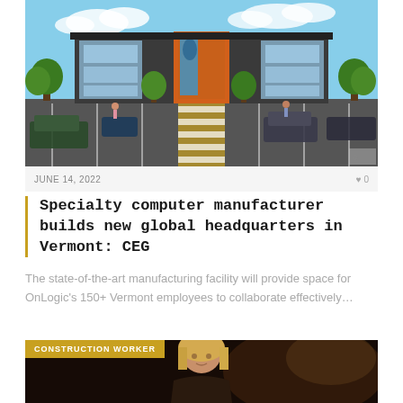[Figure (photo): Architectural rendering of a modern multi-story office/manufacturing building with glass facade, orange accent panel, parking lot with cars and pedestrians, yellow crosswalk leading to entrance, trees along the building]
JUNE 14, 2022
0
Specialty computer manufacturer builds new global headquarters in Vermont: CEG
The state-of-the-art manufacturing facility will provide space for OnLogic's 150+ Vermont employees to collaborate effectively…
[Figure (photo): Dark-toned photo of a woman with blonde hair, indoor setting with warm background lighting. Overlaid with a gold/amber label reading CONSTRUCTION WORKER]